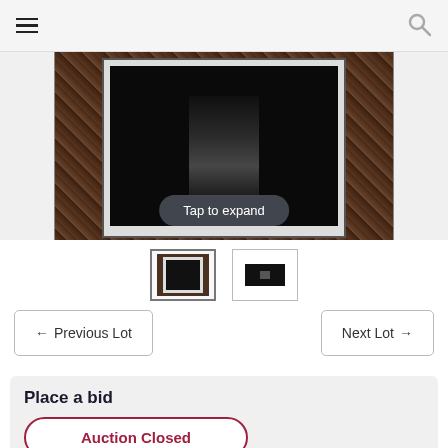[Figure (photo): Framed black and white artwork photograph with dark ornate frame, shown with a 'Tap to expand' overlay button]
[Figure (photo): Two thumbnail images of the auction item - a framed artwork and a close-up detail]
← Previous Lot
Next Lot →
Place a bid
Auction Closed
Page Views: 109
Shipping Available Within Australia